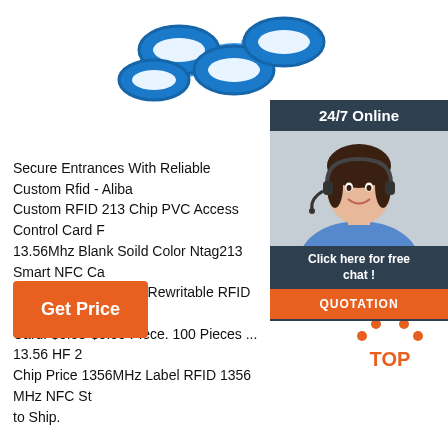[Figure (photo): Blue plastic chain links product photo at top center]
[Figure (infographic): 24/7 Online customer service widget with woman wearing headset, 'Click here for free chat!' text, and orange QUOTATION button]
Secure Entrances With Reliable Custom Rfid - Aliba Custom RFID 213 Chip PVC Access Control Card F 13.56Mhz Blank Soild Color Ntag213 Smart NFC Ca Quality Custom Logo Rewritable RFID RW1990 TM Card. $0.08-$0.50 Piece. 100 Pieces ... 13.56 HF 2 Chip Price 1356MHz Label RFID 1356 MHz NFC St to Ship.
Get Price
[Figure (logo): Orange TOP arrow logo icon at bottom right]